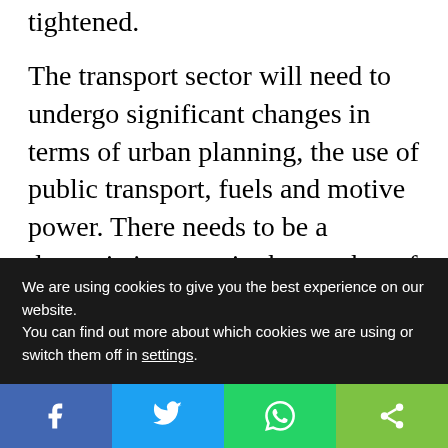tightened.
The transport sector will need to undergo significant changes in terms of urban planning, the use of public transport, fuels and motive power. There needs to be a dramatic increase in the number of charging stations for electric cars and other measures to reduce the energy consumption of transport. The possibilities that digitalisation offers in terms of transport emission reduction must be taken into use as
We are using cookies to give you the best experience on our website.
You can find out more about which cookies we are using or switch them off in settings.